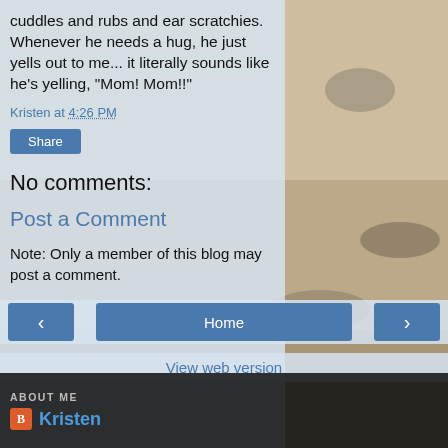[Figure (photo): Background photo collage of cats in various poses outdoors]
cuddles and rubs and ear scratchies. Whenever he needs a hug, he just yells out to me... it literally sounds like he's yelling, "Mom! Mom!!"
Kristen at 4:26 PM
Share
No comments:
Post a Comment
Note: Only a member of this blog may post a comment.
Home
View web version
ABOUT ME
Kristen